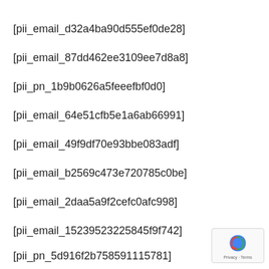[pii_email_d32a4ba90d555ef0de28]
[pii_email_87dd462ee3109ee7d8a8]
[pii_pn_1b9b0626a5feeefbf0d0]
[pii_email_64e51cfb5e1a6ab66991]
[pii_email_49f9df70e93bbe083adf]
[pii_email_b2569c473e720785c0be]
[pii_email_2daa5a9f2cefc0afc998]
[pii_email_15239523225845f9f742]
[pii_pn_5d916f2b758591115781]